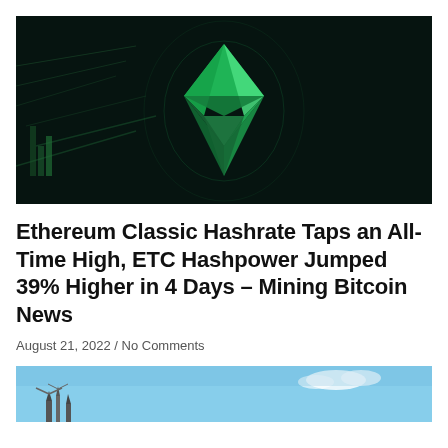[Figure (photo): Dark background with a glowing green Ethereum Classic diamond/gem logo shape made of geometric facets, with faint green chart lines visible in the background]
Ethereum Classic Hashrate Taps an All-Time High, ETC Hashpower Jumped 39% Higher in 4 Days – Mining Bitcoin News
August 21, 2022 / No Comments
[Figure (photo): Partial view of a blue sky with what appears to be industrial or mining equipment structures visible at the bottom]